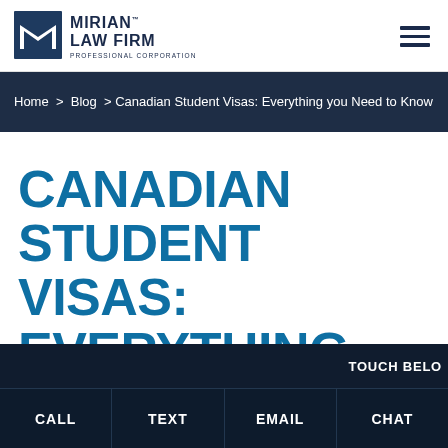MIRIAN LAW FIRM PROFESSIONAL CORPORATION
Home > Blog > Canadian Student Visas: Everything you Need to Know
CANADIAN STUDENT VISAS: EVERYTHING YOU NEED TO KNOW
TOUCH BELOW | CALL | TEXT | EMAIL | CHAT